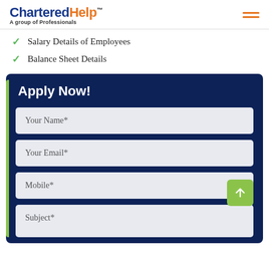CharteredHelp™ A group of Professionals
Salary Details of Employees
Balance Sheet Details
Apply Now!
Your Name*
Your Email*
Mobile*
Subject*